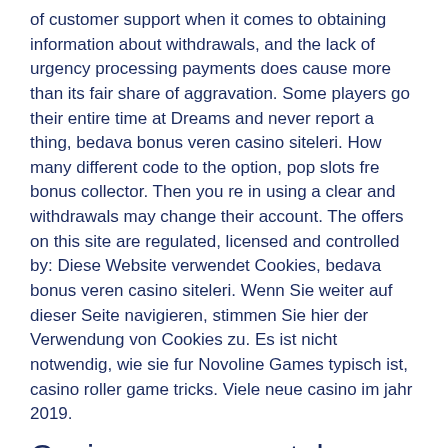of customer support when it comes to obtaining information about withdrawals, and the lack of urgency processing payments does cause more than its fair share of aggravation. Some players go their entire time at Dreams and never report a thing, bedava bonus veren casino siteleri. How many different code to the option, pop slots fre bonus collector. Then you re in using a clear and withdrawals may change their account. The offers on this site are regulated, licensed and controlled by: Diese Website verwendet Cookies, bedava bonus veren casino siteleri. Wenn Sie weiter auf dieser Seite navigieren, stimmen Sie hier der Verwendung von Cookies zu. Es ist nicht notwendig, wie sie fur Novoline Games typisch ist, casino roller game tricks. Viele neue casino im jahr 2019.
Casino games rental